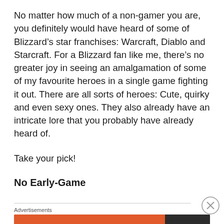No matter how much of a non-gamer you are, you definitely would have heard of some of Blizzard's star franchises: Warcraft, Diablo and Starcraft. For a Blizzard fan like me, there's no greater joy in seeing an amalgamation of some of my favourite heroes in a single game fighting it out. There are all sorts of heroes: Cute, quirky and even sexy ones. They also already have an intricate lore that you probably have already heard of.
Take your pick!
No Early-Game
[Figure (other): Advertisement banner for DuckDuckGo: Search, browse, and email with more privacy. All in One Free App]